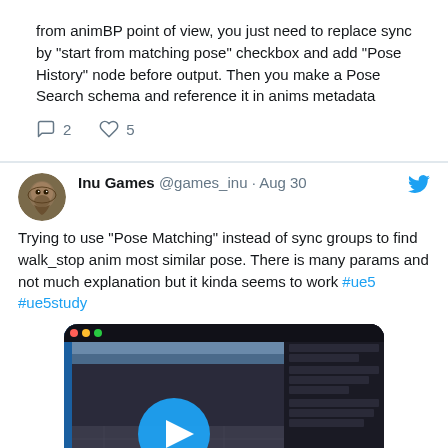from animBP point of view, you just need to replace sync by "start from matching pose" checkbox and add "Pose History" node before output. Then you make a Pose Search schema and reference it in anims metadata
2  5 (reply and like counts)
Inu Games @games_inu · Aug 30
Trying to use "Pose Matching" instead of sync groups to find walk_stop anim most similar pose. There is many params and not much explanation but it kinda seems to work #ue5 #ue5study
[Figure (screenshot): Video thumbnail showing a 3D game engine viewport with a dark environment and a character animation. A large blue play button is overlaid in the center.]